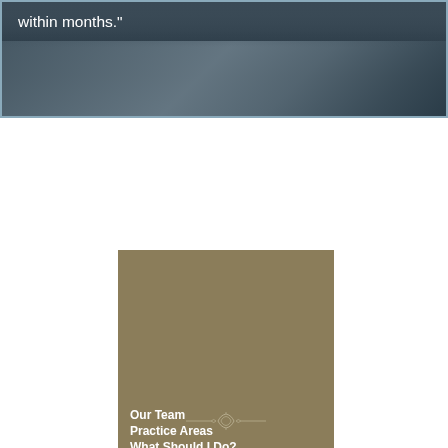[Figure (photo): Dark photo of an open book or desk surface with text overlay reading 'within months.']
within months."
[Figure (photo): Tan/khaki colored rectangular image block serving as a decorative sidebar panel with an ornamental divider near the bottom]
Our Team
Practice Areas
What Should I Do?